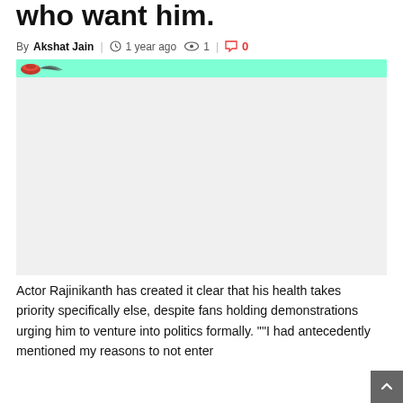who want him.
By Akshat Jain  |  1 year ago  👁1  |  💬 0
[Figure (other): Green banner with a small red logo on the left side]
[Figure (photo): Large image area (appears blank/loading) related to article about Rajinikanth]
Actor Rajinikanth has created it clear that his health takes priority specifically else, despite fans holding demonstrations urging him to venture into politics formally. ""I had antecedently mentioned my reasons to not enter